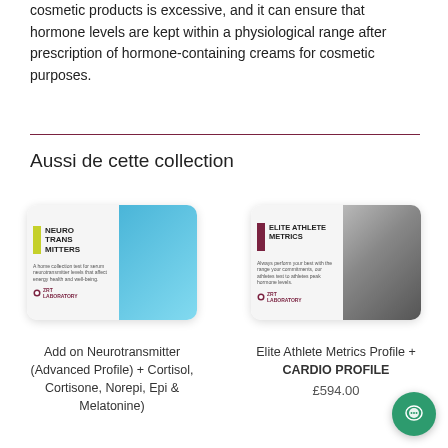cosmetic products is excessive, and it can ensure that hormone levels are kept within a physiological range after prescription of hormone-containing creams for cosmetic purposes.
Aussi de cette collection
[Figure (photo): Product box for ZRT Laboratory Neurotransmitters test kit with blue neural background imagery and yellow/green label accent]
Add on Neurotransmitter (Advanced Profile) + Cortisol, Cortisone, Norepi, Epi & Melatonine)
[Figure (photo): Product box for ZRT Laboratory Elite Athlete Metrics profile with image of cyclist and purple label accent]
Elite Athlete Metrics Profile + CARDIO PROFILE
£594.00